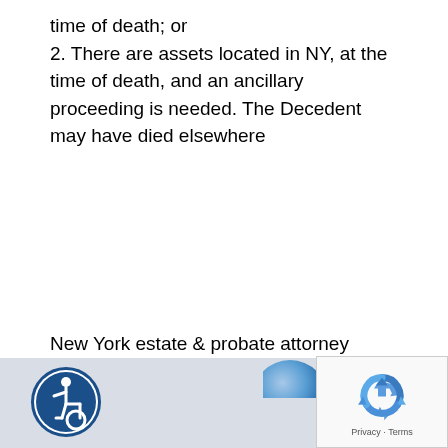time of death; or
2. There are assets located in NY, at the time of death, and an ancillary proceeding is needed. The Decedent may have died elsewhere
New York estate & probate attorney
More information about out-of-state probate help.
[Figure (logo): Accessibility icon — blue circle with wheelchair user symbol]
[Figure (other): Partial blue globe icon]
[Figure (other): reCAPTCHA widget with recycling-arrows logo and Privacy · Terms text]